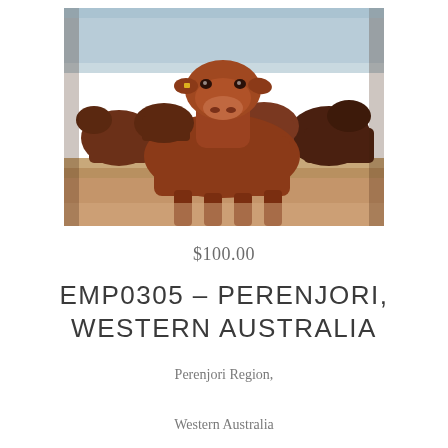[Figure (photo): A herd of red-brown cattle (beef cattle) facing the camera in an arid, dusty paddock setting. One cow is prominently in the foreground, others behind.]
$100.00
EMP0305 – PERENJORI, WESTERN AUSTRALIA
Perenjori Region,
Western Australia